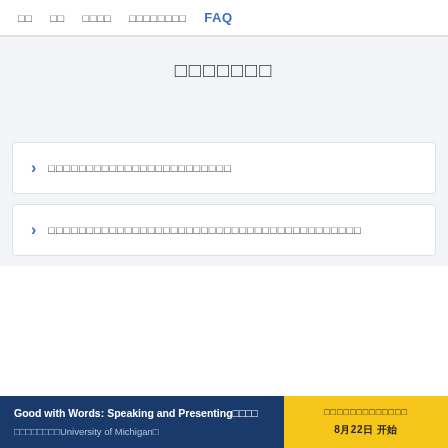□□  □□  □□□□  □□□□□□□□  FAQ
□□□□□□□
□□□□□□□□□□□□□□□□□□□□□□□□
□□□□□□□□□□□□□□□□□□□□□□□□□□□□□□□□□□□□□□□□□
Good with Words: Speaking and Presenting□□□□  □□□□□□□□University of Michigan□
□□□□□□□□□□□□□  8月22日 开始